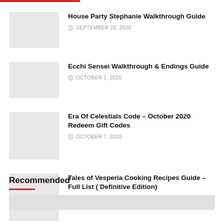House Party Stephanie Walkthrough Guide — SEPTEMBER 20, 2020
Ecchi Sensei Walkthrough & Endings Guide — OCTOBER 1, 2020
Era Of Celestials Code – October 2020 Redeem Gift Codes — OCTOBER 7, 2020
Tales of Vesperia Cooking Recipes Guide – Full List ( Definitive Edition) — SEPTEMBER 9, 2020
Recommended
[Figure (photo): Thumbnail image placeholder at bottom]